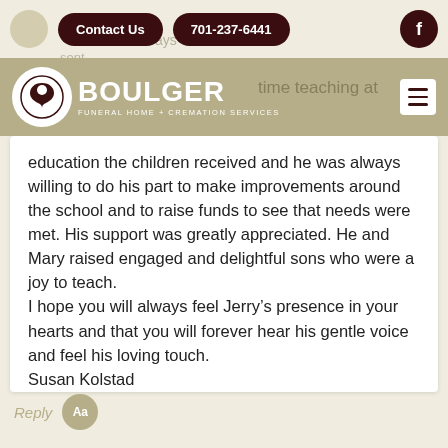Contact Us | 701-237-6441 | f
[Figure (logo): Boulger Funeral Home + Cremation Services logo — circular icon with white background and dark emblem, bold white BOULGER text, subtitle FUNERAL HOME + CREMATION SERVICES]
education the children received and he was always willing to do his part to make improvements around the school and to raise funds to see that needs were met. His support was greatly appreciated. He and Mary raised engaged and delightful sons who were a joy to teach.
I hope you will always feel Jerry’s presence in your hearts and that you will forever hear his gentle voice and feel his loving touch.
Susan Kolstad